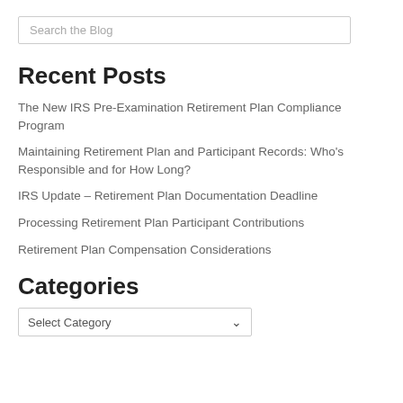Search the Blog
Recent Posts
The New IRS Pre-Examination Retirement Plan Compliance Program
Maintaining Retirement Plan and Participant Records: Who's Responsible and for How Long?
IRS Update – Retirement Plan Documentation Deadline
Processing Retirement Plan Participant Contributions
Retirement Plan Compensation Considerations
Categories
Select Category